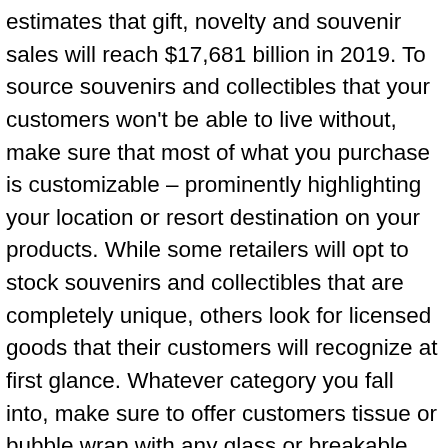estimates that gift, novelty and souvenir sales will reach $17,681 billion in 2019. To source souvenirs and collectibles that your customers won't be able to live without, make sure that most of what you purchase is customizable – prominently highlighting your location or resort destination on your products. While some retailers will opt to stock souvenirs and collectibles that are completely unique, others look for licensed goods that their customers will recognize at first glance. Whatever category you fall into, make sure to offer customers tissue or bubble wrap with any glass or breakable items to ensure they can easily transport the item to their final destination. This proves you not only know how to offer the right inventory to your customers but also that you can support them in their